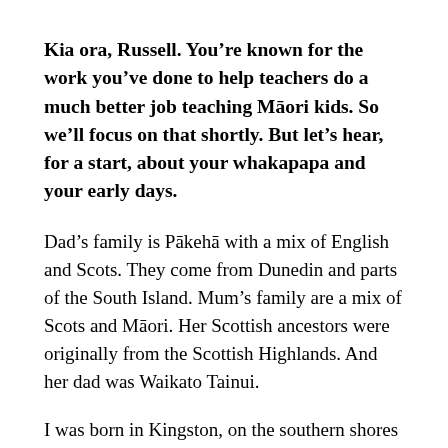Kia ora, Russell. You're known for the work you've done to help teachers do a much better job teaching Māori kids. So we'll focus on that shortly. But let's hear, for a start, about your whakapapa and your early days.
Dad's family is Pākehā with a mix of English and Scots. They come from Dunedin and parts of the South Island. Mum's family are a mix of Scots and Māori. Her Scottish ancestors were originally from the Scottish Highlands. And her dad was Waikato Tainui.
I was born in Kingston, on the southern shores of Lake Wakatipu. It was, and still is, a pretty small